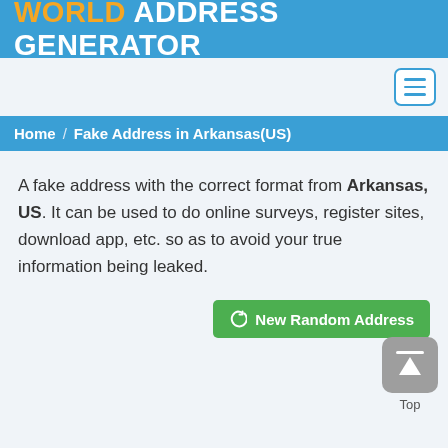WORLD ADDRESS GENERATOR
[Figure (screenshot): Hamburger menu button with three horizontal lines, bordered in blue]
Home / Fake Address in Arkansas(US)
A fake address with the correct format from Arkansas, US. It can be used to do online surveys, register sites, download app, etc. so as to avoid your true information being leaked.
[Figure (other): Green button labeled 'New Random Address' with a refresh icon]
[Figure (other): Back to top button with upward arrow, labeled 'Top']